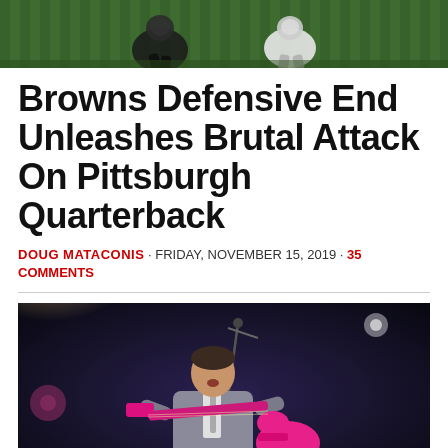[Figure (photo): Sports photo showing football players on a field, green turf visible, players in dark uniforms]
Browns Defensive End Unleashes Brutal Attack On Pittsburgh Quarterback
DOUG MATACONIS · FRIDAY, NOVEMBER 15, 2019 · 35 COMMENTS
[Figure (photo): Musician performing on stage wearing a silver/grey blazer, playing a pink Fender guitar, singing into a microphone, dark concert venue background]